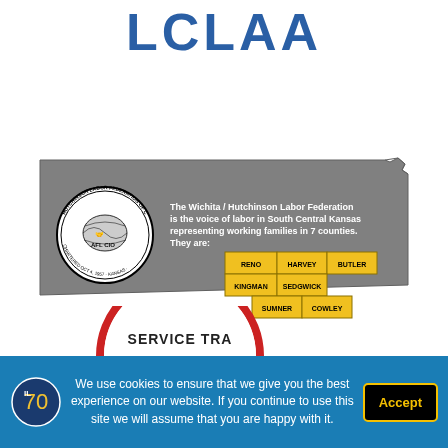LCLAA
[Figure (map): Kansas state map (gray silhouette) showing Wichita/Hutchinson Labor Federation AFL-CIO seal and 7 highlighted counties (Reno, Harvey, Butler, Kingman, Sedgwick, Sumner, Cowley) in yellow, with text: The Wichita / Hutchinson Labor Federation is the voice of labor in South Central Kansas representing working families in 7 counties. They are:]
[Figure (logo): Service Trades Council union logo, partial arc visible at bottom]
We use cookies to ensure that we give you the best experience on our website. If you continue to use this site we will assume that you are happy with it.